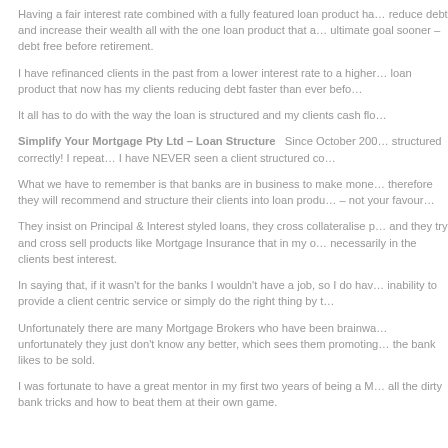Having a fair interest rate combined with a fully featured loan product ha… reduce debt and increase their wealth all with the one loan product that a… ultimate goal sooner – debt free before retirement.
I have refinanced clients in the past from a lower interest rate to a higher… loan product that now has my clients reducing debt faster than ever befo…
It all has to do with the way the loan is structured and my clients cash flo…
Simplify Your Mortgage Pty Ltd – Loan Structure   Since October 200… structured correctly! I repeat… I have NEVER seen a client structured co…
What we have to remember is that banks are in business to make mone… therefore they will recommend and structure their clients into loan produ… – not your favour…
They insist on Principal & Interest styled loans, they cross collateralise p… and they try and cross sell products like Mortgage Insurance that in my o… necessarily in the clients best interest.
In saying that, if it wasn't for the banks I wouldn't have a job, so I do hav… inability to provide a client centric service or simply do the right thing by t…
Unfortunately there are many Mortgage Brokers who have been brainwa… unfortunately they just don't know any better, which sees them promoting… the bank likes to be sold.
I was fortunate to have a great mentor in my first two years of being a M… all the dirty bank tricks and how to beat them at their own game.